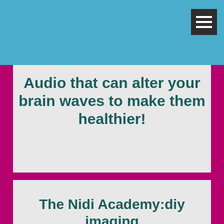Audio that can alter your brain waves to make them healthier!
The Nidi Academy:diy imaging